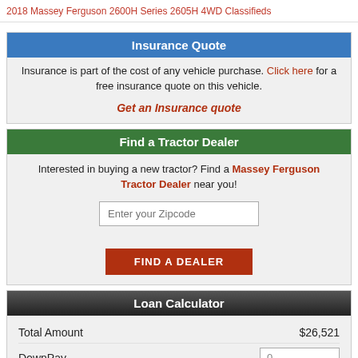2018 Massey Ferguson 2600H Series 2605H 4WD Classifieds
Insurance Quote
Insurance is part of the cost of any vehicle purchase. Click here for a free insurance quote on this vehicle.
Get an Insurance quote
Find a Tractor Dealer
Interested in buying a new tractor? Find a Massey Ferguson Tractor Dealer near you!
Loan Calculator
Total Amount   $26,521
DownPay   0